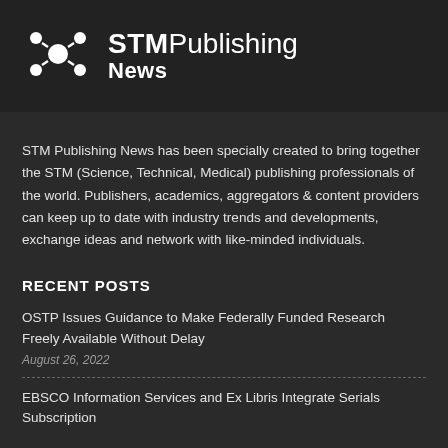[Figure (logo): STM Publishing News logo: a molecular network icon on the left, and the text 'STMPublishing News' on the right, white on dark background]
STM Publishing News has been specially created to bring together the STM (Science, Technical, Medical) publishing professionals of the world. Publishers, academics, aggregators & content providers can keep up to date with industry trends and developments, exchange ideas and network with like-minded individuals.
RECENT POSTS
OSTP Issues Guidance to Make Federally Funded Research Freely Available Without Delay
August 26, 2022
EBSCO Information Services and Ex Libris Integrate Serials Subscription